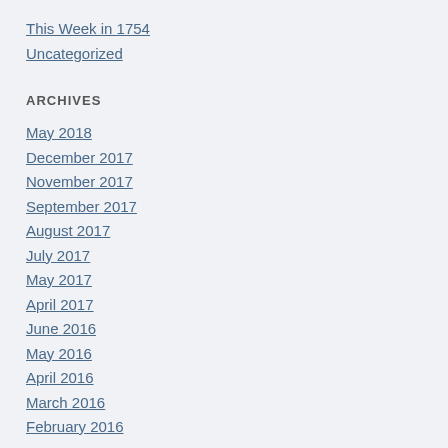This Week in 1754
Uncategorized
ARCHIVES
May 2018
December 2017
November 2017
September 2017
August 2017
July 2017
May 2017
April 2017
June 2016
May 2016
April 2016
March 2016
February 2016